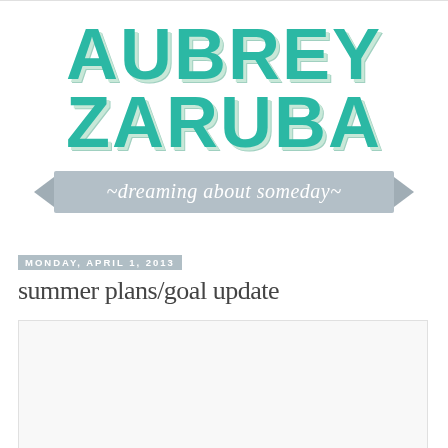[Figure (logo): Aubrey Zaruba blog logo with teal block letters 'AUBREY ZARUBA' and a gray banner ribbon reading '~dreaming about someday~']
Monday, April 1, 2013
summer plans/goal update
[Figure (photo): A white/blank image placeholder with light gray border]